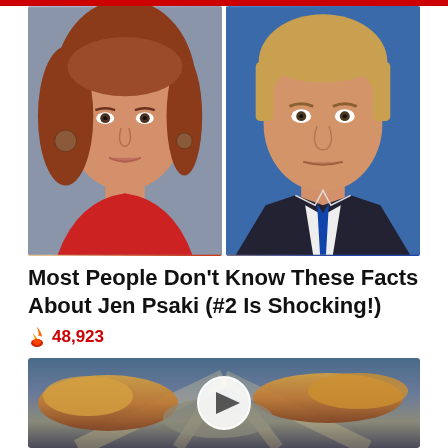[Figure (photo): Two side-by-side photos: left shows a woman with red hair wearing a red top (Jen Psaki), right shows a man in a dark suit with a blue tie (Donald Trump).]
Most People Don't Know These Facts About Jen Psaki (#2 Is Shocking!)
🔥 48,923
[Figure (photo): Video thumbnail showing dramatic sky with clouds and sunbeams; large white circular play button in center.]